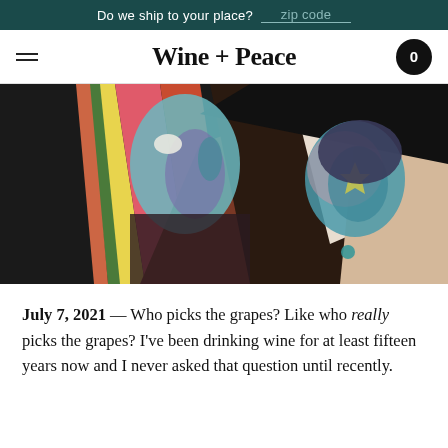Do we ship to your place? zip code
Wine + Peace
[Figure (illustration): Colorful cubist-style painting of two people with stylized faces rendered in teal, blue, and pink tones against bold geometric shapes in red, yellow, orange, brown, and black.]
July 7, 2021 — Who picks the grapes? Like who really picks the grapes? I've been drinking wine for at least fifteen years now and I never asked that question until recently.